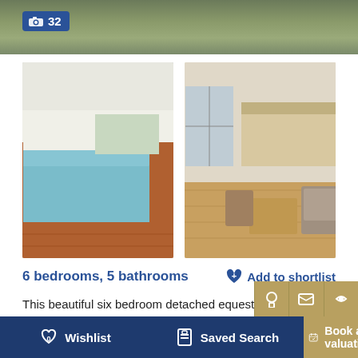[Figure (photo): Aerial/exterior view of property with photo count badge showing 32 photos]
[Figure (photo): Indoor swimming pool with terracotta tile flooring]
[Figure (photo): Open plan living room and kitchen interior with wooden flooring]
6 bedrooms, 5 bathrooms
Add to shortlist
This beautiful six bedroom detached equestrian home is quite simply breath taking set over two floors, measuring approx. 3,906 sq ft. The home is b... See more >
Wishlist | Saved Search | Book a valuation